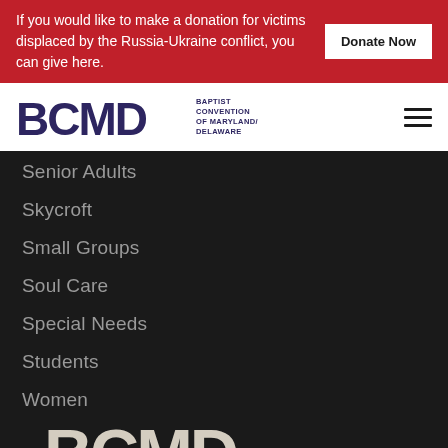If you would like to make a donation for victims displaced by the Russia-Ukraine conflict, you can give here.
Donate Now
[Figure (logo): BCMD Baptist Convention of Maryland/Delaware logo in dark blue/purple]
Senior Adults
Skycroft
Small Groups
Soul Care
Special Needs
Students
Women
[Figure (logo): Large BCMD logo in cream/beige color at bottom of page on dark background]